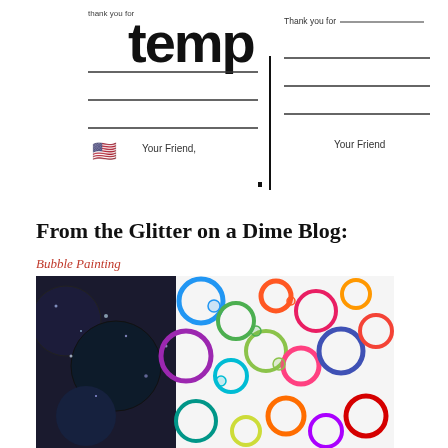[Figure (illustration): Thank you note template cards. Left card has large bold 'temp' text (part of 'template' heading), lines for writing, 'Your Friend,' text, and a US flag heart emoji. Right card has 'Thank you for ___' with fill-in lines and 'Your Friend' text. Cards are separated by a vertical divider line.]
From the Glitter on a Dime Blog:
Bubble Painting
[Figure (photo): Colorful bubble painting artwork showing multiple overlapping circles of painted bubbles in vivid colors including black, blue, red, green, and multi-colored, spread across a white surface.]